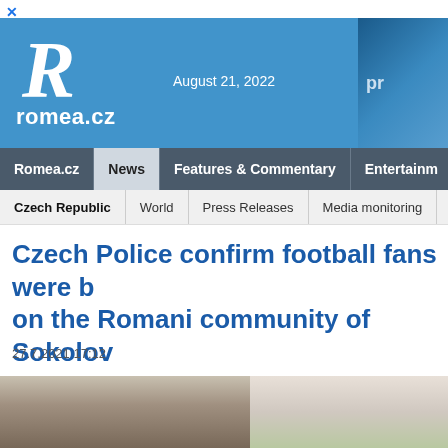romea.cz — August 21, 2022
Romea.cz | News | Features & Commentary | Entertainment
Czech Republic | World | Press Releases | Media monitoring | Or
Czech Police confirm football fans were b on the Romani community of Sokolov
27.7.2021 17:12
[Figure (photo): Two photos: left shows a group of people standing outside a building; right shows an outdoor scene with a street lamp and trees.]